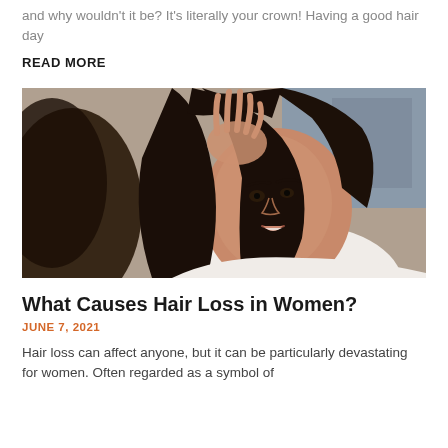and why wouldn't it be? It's literally your crown! Having a good hair day
READ MORE
[Figure (photo): Woman with concerned expression looking at her hair in a mirror, touching her scalp with one hand]
What Causes Hair Loss in Women?
JUNE 7, 2021
Hair loss can affect anyone, but it can be particularly devastating for women. Often regarded as a symbol of